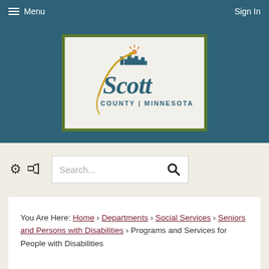Menu  Sign In
[Figure (logo): Scott County Minnesota logo with wheat/grain graphic and stylized text on light textured background with olive green border]
Search...
You Are Here: Home › Departments › Social Services › Seniors and Persons with Disabilities › Programs and Services for People with Disabilities